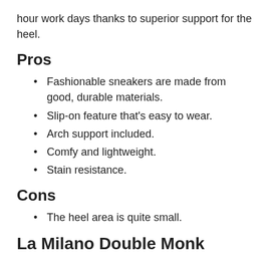hour work days thanks to superior support for the heel.
Pros
Fashionable sneakers are made from good, durable materials.
Slip-on feature that's easy to wear.
Arch support included.
Comfy and lightweight.
Stain resistance.
Cons
The heel area is quite small.
La Milano Double Monk